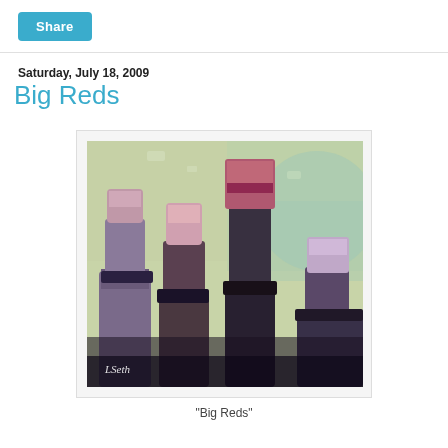Share
Saturday, July 18, 2009
Big Reds
[Figure (illustration): Painting of multiple wine bottle necks and corks close-up, with purple, pink and green tones, signed by the artist. Style is impressionistic/painterly.]
"Big Reds"